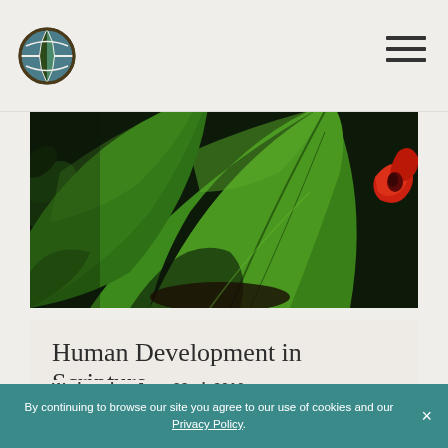[Figure (photo): Close-up photograph of large green tropical leaves with a red flower bud visible at the right edge, dark soil visible beneath]
Human Development in Scripture
Wednesday, June 22nd, 2016
By continuing to browse our site you agree to our use of cookies and our Privacy Policy.